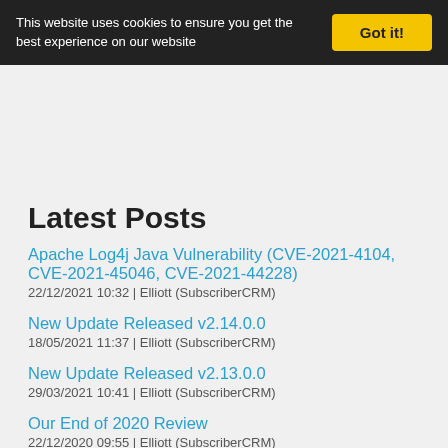This website uses cookies to ensure you get the best experience on our website | Got it!
Latest Posts
Apache Log4j Java Vulnerability (CVE-2021-4104, CVE-2021-45046, CVE-2021-44228)
22/12/2021 10:32 | Elliott (SubscriberCRM)
New Update Released v2.14.0.0
18/05/2021 11:37 | Elliott (SubscriberCRM)
New Update Released v2.13.0.0
29/03/2021 10:41 | Elliott (SubscriberCRM)
Our End of 2020 Review
22/12/2020 09:55 | Elliott (SubscriberCRM)